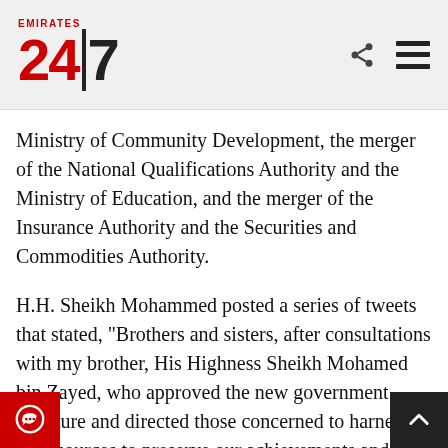Emirates 24|7
Ministry of Community Development, the merger of the National Qualifications Authority and the Ministry of Education, and the merger of the Insurance Authority and the Securities and Commodities Authority.
H.H. Sheikh Mohammed posted a series of tweets that stated, "Brothers and sisters, after consultations with my brother, His Highness Sheikh Mohamed bin Zayed, who approved the new government structure and directed those concerned to harness all resources to preserve our achievements and accelerate the process of national development, and after the approval of my brother, His Highness Sheikh Khali